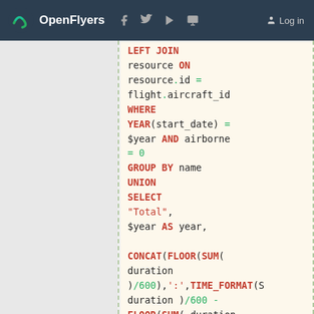OpenFlyers — navigation bar with logo, social icons, Log in
SQL code snippet showing LEFT JOIN, WHERE, GROUP BY, UNION, SELECT, CONCAT(FLOOR(SUM(duration)/600),':',TIME_FORMAT(SUM(duration)/600 - FLOOR(SUM(duration)/600)*3600),'%i')) AS Total FROM flight WHERE YEAR(start_date) = $year AND airborne = 0